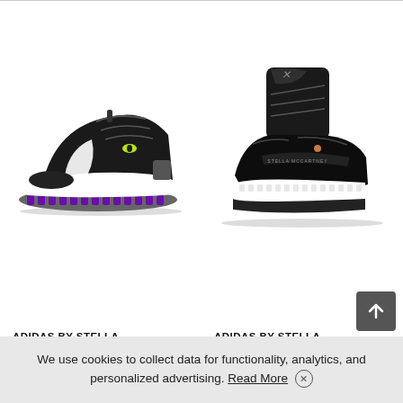[Figure (photo): Adidas by Stella McCartney black trail running sneaker with white and gray sole, purple outsole lugs, and yellow cat eye detail]
[Figure (photo): Adidas by Stella McCartney black high-top sneaker boot with glossy patent leather upper, white boost sole, and ankle sock detail]
ADIDAS BY STELLA
ADIDAS BY STELLA
We use cookies to collect data for functionality, analytics, and personalized advertising. Read More ×